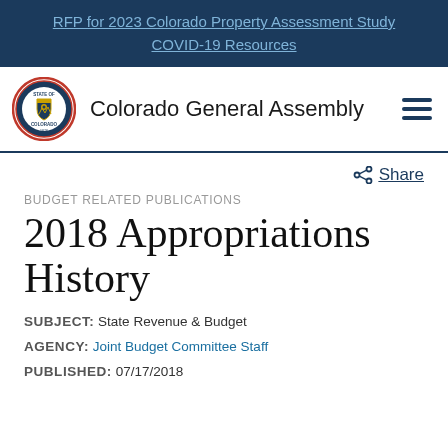RFP for 2023 Colorado Property Assessment Study
COVID-19 Resources
[Figure (logo): Colorado General Assembly seal/logo with hamburger menu navigation]
Share
BUDGET RELATED PUBLICATIONS
2018 Appropriations History
SUBJECT: State Revenue & Budget
AGENCY: Joint Budget Committee Staff
PUBLISHED: 07/17/2018